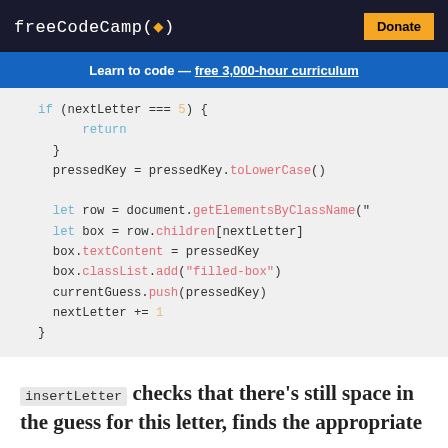freeCodeCamp(🔥)  Donate
Learn to code — free 3,000-hour curriculum
[Figure (screenshot): Code block showing JavaScript snippet with syntax highlighting on a light gray background. Code includes: if (nextLetter === 5) { return } pressedKey = pressedKey.toLowerCase() let row = document.getElementsByClassName(" let box = row.children[nextLetter] box.textContent = pressedKey box.classList.add("filled-box") currentGuess.push(pressedKey) nextLetter += 1 }]
insertLetter checks that there's still space in the guess for this letter, finds the appropriate